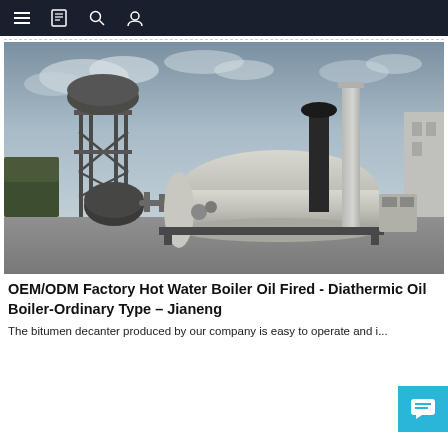Navigation bar with menu, document, search, and profile icons
[Figure (photo): Industrial diathermic oil boiler on a skid outdoors, with a tall chimney stack, smaller black exhaust pipe, elevated tank tower on the left, control box on the right, and industrial buildings in the background under a cloudy sky.]
OEM/ODM Factory Hot Water Boiler Oil Fired - Diathermic Oil Boiler-Ordinary Type – Jianeng
The bitumen decanter produced by our company is easy to operate and i...